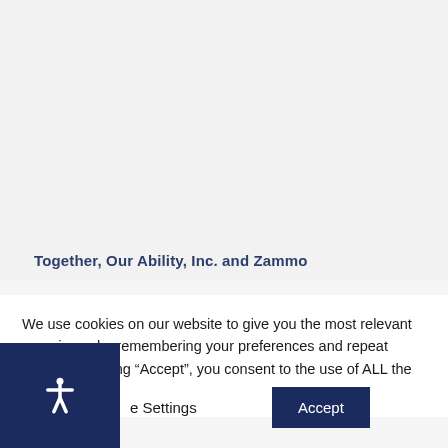Together, Our Ability, Inc. and Zammo
We use cookies on our website to give you the most relevant experience by remembering your preferences and repeat visits. By clicking “Accept”, you consent to the use of ALL the cookies.
[Figure (other): Accessibility icon button (person with arms outstretched) on dark navy background]
e Settings
Accept